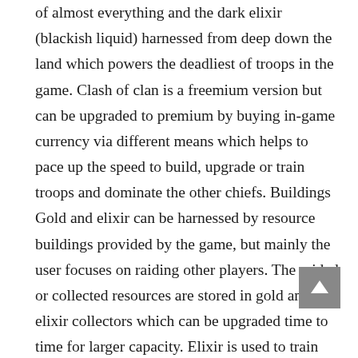of almost everything and the dark elixir (blackish liquid) harnessed from deep down the land which powers the deadliest of troops in the game. Clash of clan is a freemium version but can be upgraded to premium by buying in-game currency via different means which helps to pace up the speed to build, upgrade or train troops and dominate the other chiefs. Buildings Gold and elixir can be harnessed by resource buildings provided by the game, but mainly the user focuses on raiding other players. The raided or collected resources are stored in gold and elixir collectors which can be upgraded time to time for larger capacity. Elixir is used to train troops and construct buildings which involve troops training and spells and carry out troops◆ research in the research lab where troops are upgraded to their full potential. In contrast, gold is used to construct defence buildings, traps and walls which solidifies defense and slow down invaders raiding the village.